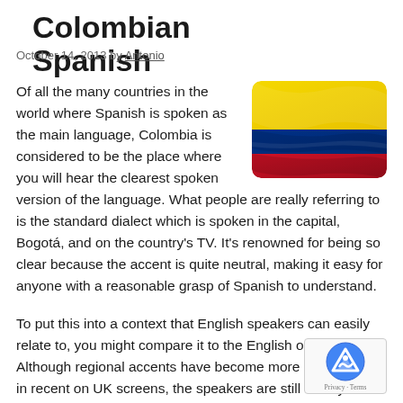Colombian Spanish
October 14, 2013 by Antonio
[Figure (photo): Colombian flag waving — yellow, blue, and red horizontal stripes with rounded corners]
Of all the many countries in the world where Spanish is spoken as the main language, Colombia is considered to be the place where you will hear the clearest spoken version of the language. What people are really referring to is the standard dialect which is spoken in the capital, Bogotá, and on the country's TV. It's renowned for being so clear because the accent is quite neutral, making it easy for anyone with a reasonable grasp of Spanish to understand.
To put this into a context that English speakers can easily relate to, you might compare it to the English of the BBC. Although regional accents have become more of a feature in recent on UK screens, the speakers are still clearly intelligible to anyone